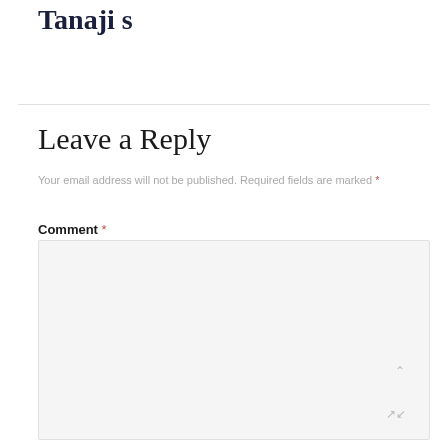Tanaji s
Leave a Reply
Your email address will not be published. Required fields are marked *
Comment *